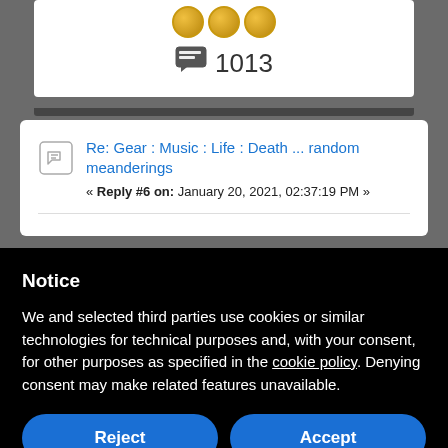[Figure (screenshot): Top portion of a forum card showing three gold coins and a comment count of 1013]
1013
Re: Gear : Music : Life : Death ... random meanderings
« Reply #6 on: January 20, 2021, 02:37:19 PM »
Notice
We and selected third parties use cookies or similar technologies for technical purposes and, with your consent, for other purposes as specified in the cookie policy. Denying consent may make related features unavailable.
Reject
Accept
Learn more and customize